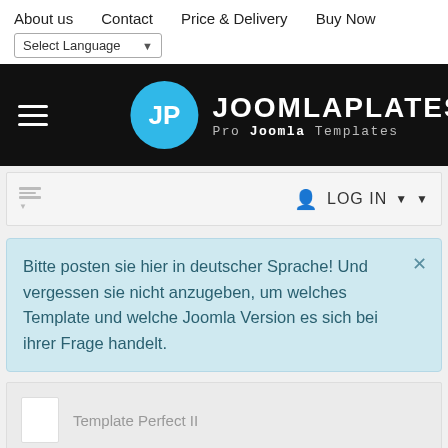About us   Contact   Price & Delivery   Buy Now
Select Language
[Figure (logo): JoomlaPlates logo: blue circle with JP, white text JOOMLAPLATES, tagline Pro Joomla Templates on black background]
LOG IN
Bitte posten sie hier in deutscher Sprache! Und vergessen sie nicht anzugeben, um welches Template und welche Joomla Version es sich bei ihrer Frage handelt.
Template Perfect II